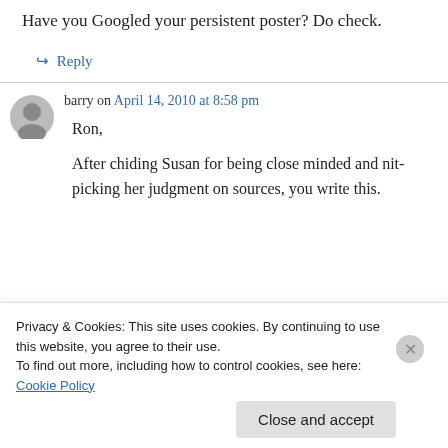Have you Googled your persistent poster? Do check.
↳ Reply
barry on April 14, 2010 at 8:58 pm
Ron,

After chiding Susan for being close minded and nit-picking her judgment on sources, you write this.
Privacy & Cookies: This site uses cookies. By continuing to use this website, you agree to their use.
To find out more, including how to control cookies, see here: Cookie Policy

Close and accept